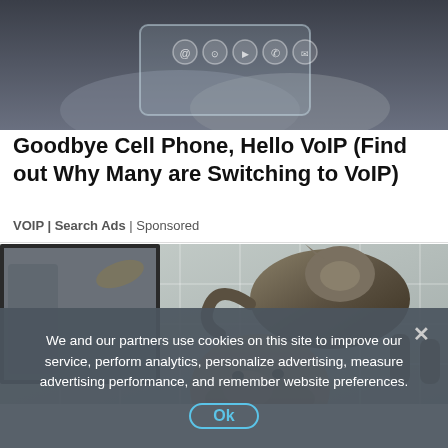[Figure (photo): Hands holding a transparent phone-like device with app icons visible, against a dark background]
Goodbye Cell Phone, Hello VoIP (Find out Why Many are Switching to VoIP)
VOIP | Search Ads | Sponsored
[Figure (photo): A smiling man with a cat standing on his head/shoulders in a bathroom with white tile walls and a mirror]
We and our partners use cookies on this site to improve our service, perform analytics, personalize advertising, measure advertising performance, and remember website preferences.